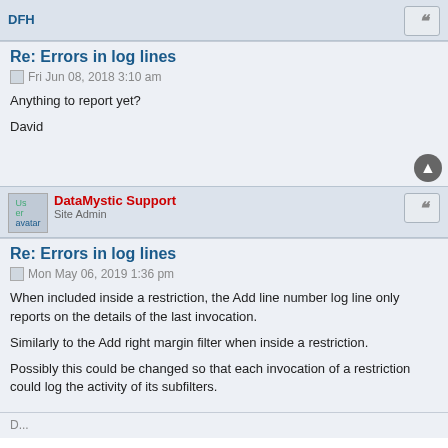DFH
Re: Errors in log lines
Fri Jun 08, 2018 3:10 am
Anything to report yet?
David
DataMystic Support
Site Admin
Re: Errors in log lines
Mon May 06, 2019 1:36 pm
When included inside a restriction, the Add line number log line only reports on the details of the last invocation.
Similarly to the Add right margin filter when inside a restriction.
Possibly this could be changed so that each invocation of a restriction could log the activity of its subfilters.